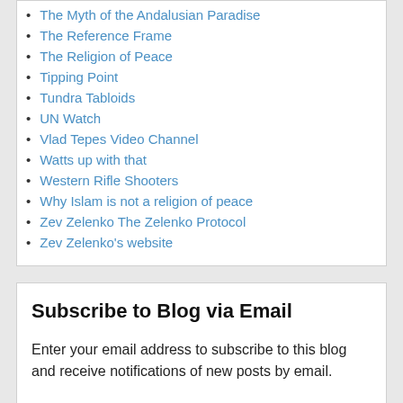The Myth of the Andalusian Paradise
The Reference Frame
The Religion of Peace
Tipping Point
Tundra Tabloids
UN Watch
Vlad Tepes Video Channel
Watts up with that
Western Rifle Shooters
Why Islam is not a religion of peace
Zev Zelenko The Zelenko Protocol
Zev Zelenko's website
Subscribe to Blog via Email
Enter your email address to subscribe to this blog and receive notifications of new posts by email.
Join 3,144 other subscribers